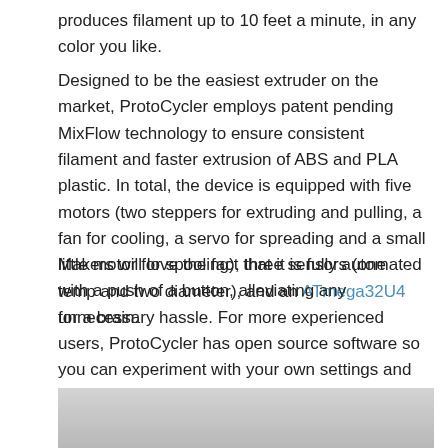produces filament up to 10 feet a minute, in any color you like.
Designed to be the easiest extruder on the market, ProtoCycler employs patent pending MixFlow technology to ensure consistent filament and faster extrusion of ABS and PLA plastic. In total, the device is equipped with five motors (two steppers for extruding and pulling, a fan for cooling, a servo for spreading and a small little motor for spooling), three sensors (one temp and two diameter), and an ATmega32U4 for a brain.
Makers will love the fact that it is fully automated with a push of a button, alleviating any unnecessary hassle. For more experienced users, ProtoCycler has open source software so you can experiment with your own settings and custom materials, fit for any 3D printer.
[Figure (photo): Partial view of a photo showing what appears to be a light-colored background with a device partially visible at the bottom left corner.]